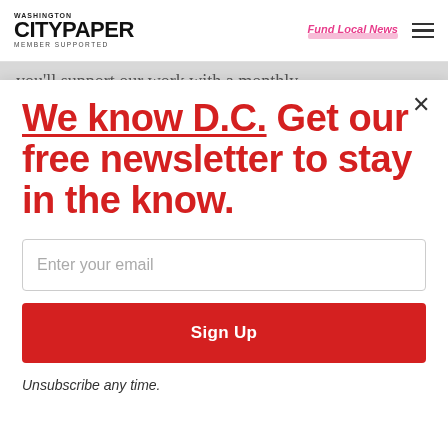[Figure (logo): Washington City Paper logo with 'MEMBER SUPPORTED' text]
Fund Local News
you'll support our work with a monthly
We know D.C. Get our free newsletter to stay in the know.
Enter your email
Sign Up
Unsubscribe any time.